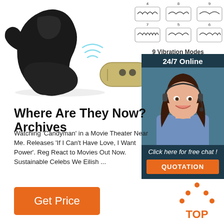[Figure (photo): Product image of a black device on white background]
[Figure (infographic): 9 Vibration Modes diagram with wave pattern icons in 3x3 grid]
[Figure (photo): Sidebar with 24/7 Online customer support agent photo, chat invitation, and QUOTATION button]
Where Are They Now? Archives
Watching 'Candyman' in a Movie Theater Near Me. Releases 'If I Can't Have Love, I Want Power'. Reg React to Movies Out Now. Sustainable Celebs We Eilish ...
[Figure (other): Get Price orange button]
[Figure (other): TOP icon with orange triangle/dots above text]